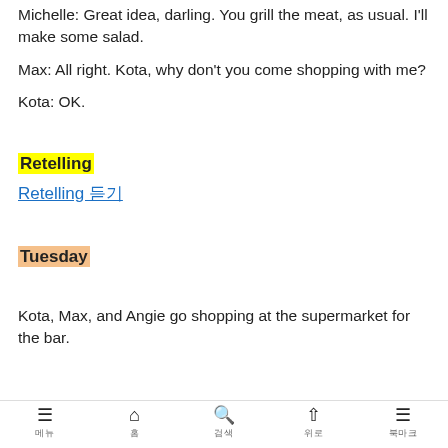Michelle: Great idea, darling. You grill the meat, as usual. I'll make some salad.
Max: All right. Kota, why don't you come shopping with me?
Kota: OK.
Retelling
Retelling 듣기
Tuesday
Kota, Max, and Angie go shopping at the supermarket for the bar.
메뉴 | 홈 | 검색 | 위로 | 북마크